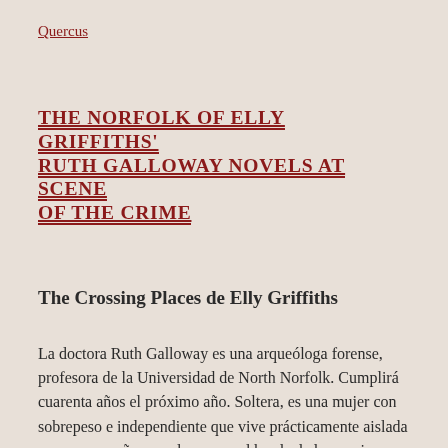Quercus
THE NORFOLK OF ELLY GRIFFITHS' RUTH GALLOWAY NOVELS AT SCENE OF THE CRIME
The Crossing Places de Elly Griffiths
La doctora Ruth Galloway es una arqueóloga forense, profesora de la Universidad de North Norfolk. Cumplirá cuarenta años el próximo año. Soltera, es una mujer con sobrepeso e independiente que vive prácticamente aislada en una pequeña casa de campo al borde de las marismas en la costa de Norfolk, con la única